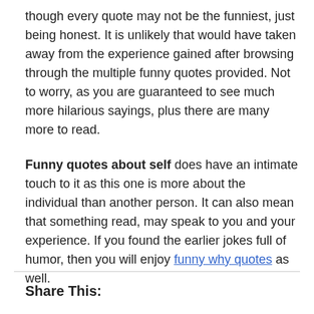though every quote may not be the funniest, just being honest. It is unlikely that would have taken away from the experience gained after browsing through the multiple funny quotes provided. Not to worry, as you are guaranteed to see much more hilarious sayings, plus there are many more to read.
Funny quotes about self does have an intimate touch to it as this one is more about the individual than another person. It can also mean that something read, may speak to you and your experience. If you found the earlier jokes full of humor, then you will enjoy funny why quotes as well.
Share This: